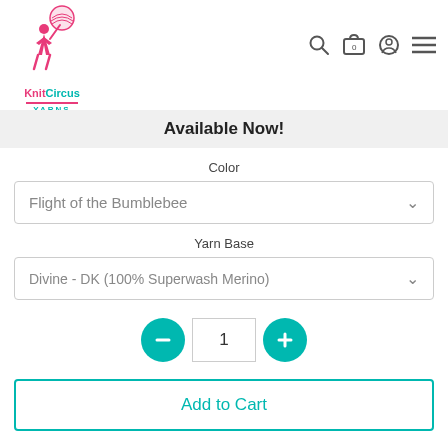[Figure (logo): KnitCircus Yarns logo with a woman figure holding yarn balls, pink and teal branding]
Available Now!
Color
Flight of the Bumblebee
Yarn Base
Divine - DK (100% Superwash Merino)
1
Add to Cart